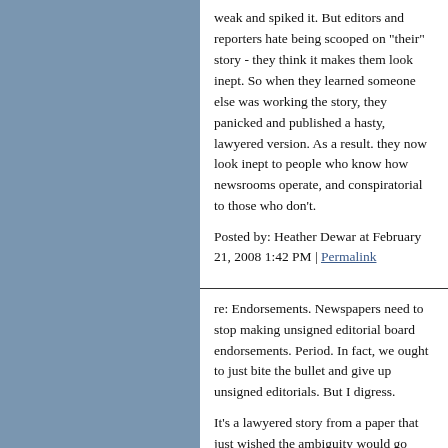weak and spiked it. But editors and reporters hate being scooped on "their" story - they think it makes them look inept. So when they learned someone else was working the story, they panicked and published a hasty, lawyered version. As a result. they now look inept to people who know how newsrooms operate, and conspiratorial to those who don't.
Posted by: Heather Dewar at February 21, 2008 1:42 PM | Permalink
re: Endorsements. Newspapers need to stop making unsigned editorial board endorsements. Period. In fact, we ought to just bite the bullet and give up unsigned editorials. But I digress.
It's a lawyered story from a paper that just wished the ambiguity would go away. But...